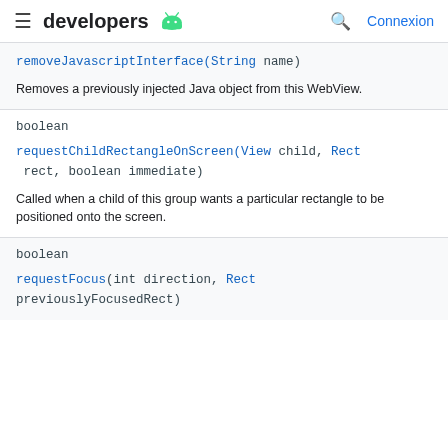developers [android icon] | [search icon] Connexion
removeJavascriptInterface(String name)
Removes a previously injected Java object from this WebView.
boolean
requestChildRectangleOnScreen(View child, Rect rect, boolean immediate)
Called when a child of this group wants a particular rectangle to be positioned onto the screen.
boolean
requestFocus(int direction, Rect previouslyFocusedRect)